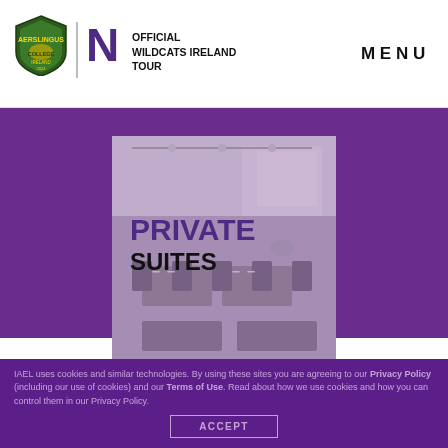OFFICIAL WILDCATS IRELAND TOUR | MENU
[Figure (photo): Private suites room with dining tables set formally, shown in greyscale/muted tones with PRIVATE SUITES text overlay. Purple background surrounds the photo card.]
IAEL uses cookies and similar technologies. By using these sites you are agreeing to our Privacy Policy (including our use of cookies) and our Terms of Use. Read about how we use cookies and how you can control them in our Privacy Policy.
ACCEPT